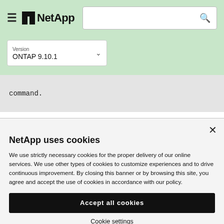NetApp — Version ONTAP 9.10.1
command.
NetApp uses cookies
We use strictly necessary cookies for the proper delivery of our online services. We use other types of cookies to customize experiences and to drive continuous improvement. By closing this banner or by browsing this site, you agree and accept the use of cookies in accordance with our policy.
Accept all cookies
Cookie settings